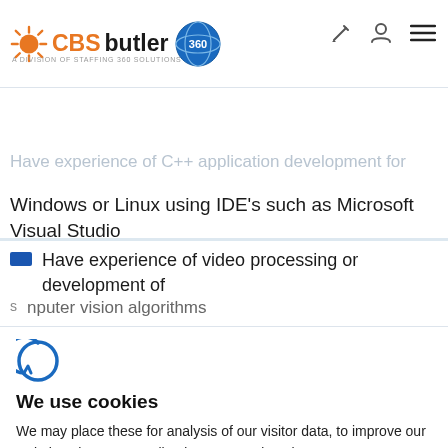CBSbutler 360 — A Division of Staffing 360 Solutions
Have a degree in a relevant discipline such as computer science, mathematics or physics.
Have experience of C++ application development for Windows or Linux using IDE's such as Microsoft Visual Studio
Have experience of video processing or development of computer vision algorithms
[Figure (logo): Cookiebot / Cybot logo — stylized C with orbit arc]
We use cookies
We may place these for analysis of our visitor data, to improve our website, show personalised content and to give you a great website experience. For more information about the cookies we use open the settings.
Accept all
Deny
Adjust